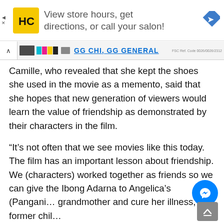[Figure (screenshot): Advertisement banner: HC logo (yellow square with HC letters), text 'View store hours, get directions, or call your salon!', blue navigation diamond icon on the right. Left side has small arrow and X symbols.]
[Figure (screenshot): Product bar with chevron up icon, black ink cartridge image, CMYK color swatches, bold blue underlined text partially visible, and small FSC reference code on the right.]
Camille, who revealed that she kept the shoes she used in the movie as a memento, said that she hopes that new generation of viewers would learn the value of friendship as demonstrated by their characters in the film.
“It’s not often that we see movies like this today. The film has an important lesson about friendship. We (characters) worked together as friends so we can give the Ibong Adarna to Angelica’s (Pangani… grandmother and cure her illness,” the former chil…